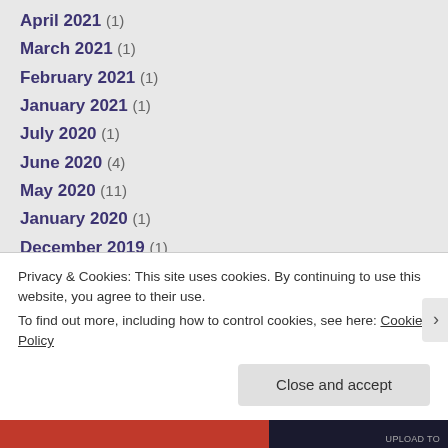April 2021 (1)
March 2021 (1)
February 2021 (1)
January 2021 (1)
July 2020 (1)
June 2020 (4)
May 2020 (11)
January 2020 (1)
December 2019 (1)
July 2019 (8)
May 2019 (1)
Privacy & Cookies: This site uses cookies. By continuing to use this website, you agree to their use. To find out more, including how to control cookies, see here: Cookie Policy